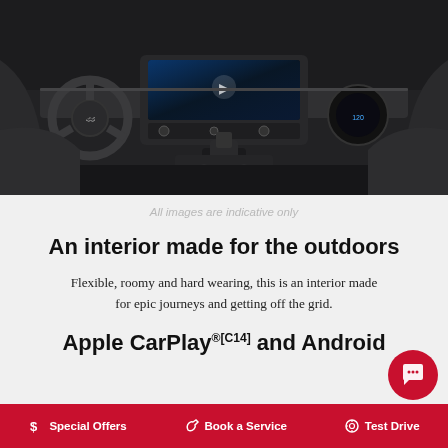[Figure (photo): Toyota Fortuner interior showing dashboard, center console with touchscreen infotainment, gear shifter, and steering wheel in dark tones]
All images are indicative only
An interior made for the outdoors
Flexible, roomy and hard wearing, this is an interior made for epic journeys and getting off the grid.
Apple CarPlay®[C14] and Android
Special Offers   Book a Service   Test Drive